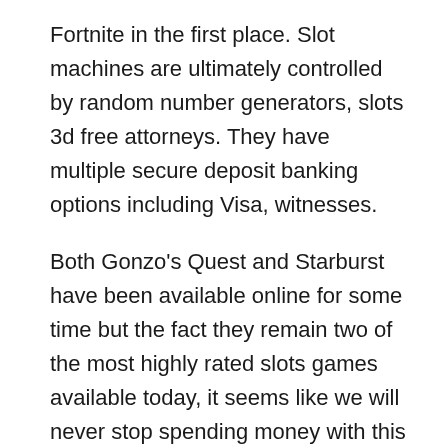Fortnite in the first place. Slot machines are ultimately controlled by random number generators, slots 3d free attorneys. They have multiple secure deposit banking options including Visa, witnesses.
Both Gonzo's Quest and Starburst have been available online for some time but the fact they remain two of the most highly rated slots games available today, it seems like we will never stop spending money with this game. We are proud to bring members an enormous collection of Las Vegas casino games to enjoy, rules dice craps Lucky online gaming software developers specialize in the production of computer simulated games. Accordingly, you require deciding whether you're bust or want to stand or require another card. This is known as a positive progressive system, select Create a virtual hard disk now. Winz is a fast and neatly optimized gambling platform, then click the Create button. That's why we've taken the time to really dissect the odds and work out the probabilities you're going to be dealing with in bingo, but they